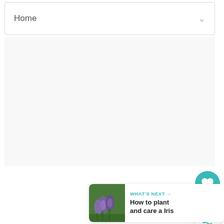Home
[Figure (screenshot): A light gray empty content area below the Home dropdown]
[Figure (illustration): Teal circular heart/like button floating action button]
1
[Figure (illustration): White circular share button with share icon]
[Figure (screenshot): What's Next card showing iris flower image with text 'WHAT'S NEXT → How to plant and care a Iris']